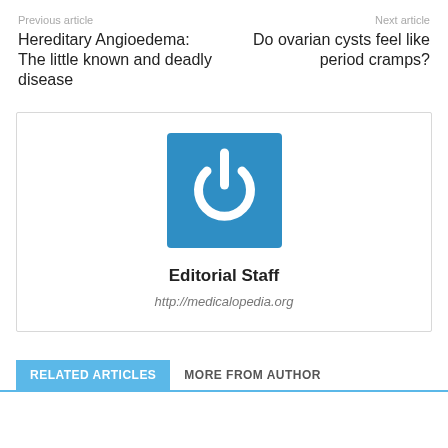Previous article
Next article
Hereditary Angioedema: The little known and deadly disease
Do ovarian cysts feel like period cramps?
[Figure (logo): Blue square with white power button icon representing Medicalopedia Editorial Staff logo]
Editorial Staff
http://medicalopedia.org
RELATED ARTICLES
MORE FROM AUTHOR